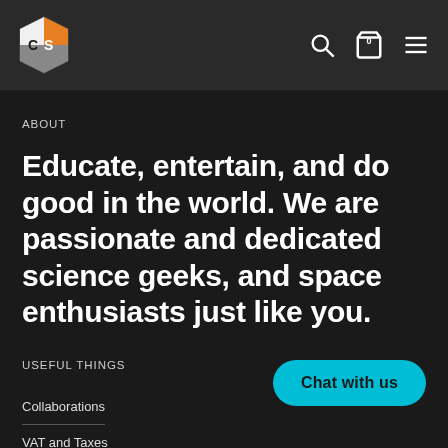CS logo, search icon, cart (0), menu icon
ABOUT
Educate, entertain, and do good in the world. We are passionate and dedicated science geeks, and space enthusiasts just like you.
USEFUL THINGS
Collaborations
VAT and Taxes
Press Kit
Chat with us